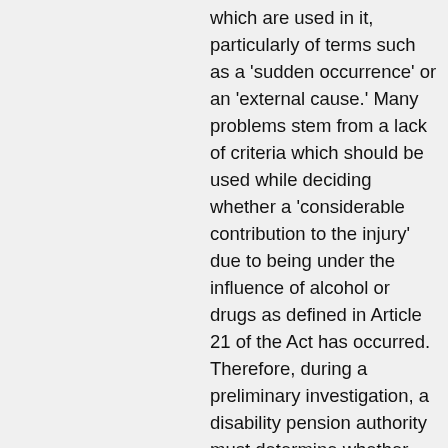which are used in it, particularly of terms such as a 'sudden occurrence' or an 'external cause.' Many problems stem from a lack of criteria which should be used while deciding whether a 'considerable contribution to the injury' due to being under the influence of alcohol or drugs as defined in Article 21 of the Act has occurred. Therefore, during a preliminary investigation, a disability pension authority must determine whether the occurrence in question is a work-related injury. To that end it investigates whether the insured person has contributed to this occurrence to a considerable degree because if he has, such a conduct excludes the right to a work injury benefit. Accordingly,